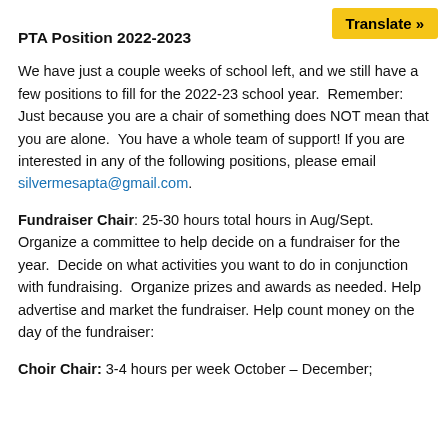Translate »
PTA Position 2022-2023
We have just a couple weeks of school left, and we still have a few positions to fill for the 2022-23 school year.  Remember:  Just because you are a chair of something does NOT mean that you are alone.  You have a whole team of support! If you are interested in any of the following positions, please email silvermesapta@gmail.com.
Fundraiser Chair: 25-30 hours total hours in Aug/Sept.   Organize a committee to help decide on a fundraiser for the year.  Decide on what activities you want to do in conjunction with fundraising.  Organize prizes and awards as needed. Help advertise and market the fundraiser. Help count money on the day of the fundraiser:
Choir Chair: 3-4 hours per week October – December;